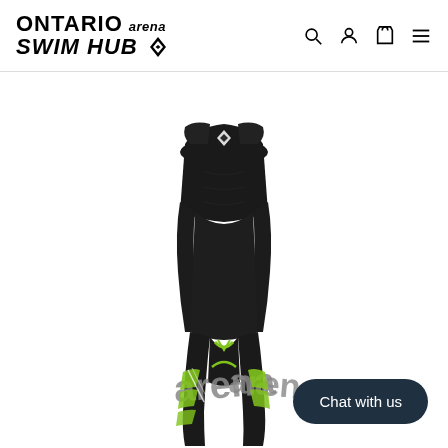ONTARIO SWIM HUB arena logo with navigation icons (search, account, cart, menu)
[Figure (photo): A black wetsuit/triathlon suit displayed on a mannequin. The suit is sleeveless, full-length. It features the Arena brand logo in grey lettering on the legs, with lime green and white diagonal stripe accents on the lower portion. The suit appears to be a competitive open-water swimming or triathlon suit.]
Chat with us